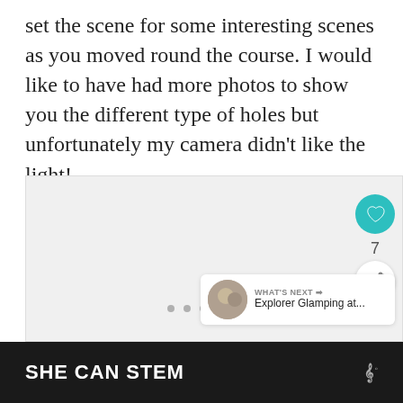set the scene for some interesting scenes as you moved round the course. I would like to have had more photos to show you the different type of holes but unfortunately my camera didn't like the light!
[Figure (photo): A mostly blank light gray image placeholder with UI overlay elements: a teal heart/like button showing 7 likes, a share button, three dot pagination indicators, and a 'What's Next' card showing an Explorer Glamping thumbnail.]
SHE CAN STEM